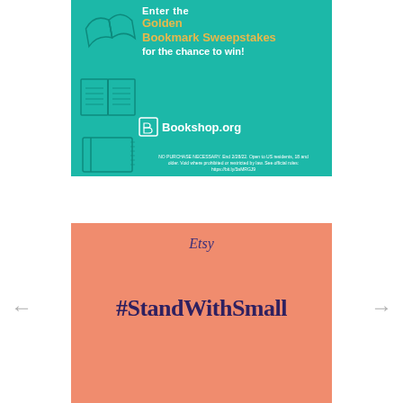[Figure (infographic): Bookshop.org 'Enter the Golden Bookmark Sweepstakes for the chance to win!' advertisement on teal/green background with book illustrations]
[Figure (infographic): Etsy #StandWithSmall advertisement on salmon/peach background with Etsy branding and hashtag]